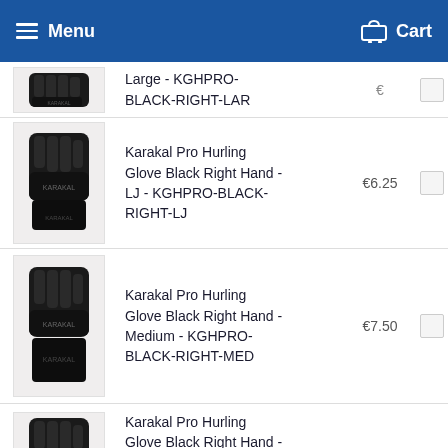Menu  Cart
Large - KGHPRO-BLACK-RIGHT-LAR
[Figure (photo): Karakal Pro Hurling Glove black, partially visible]
Karakal Pro Hurling Glove Black Right Hand - LJ - KGHPRO-BLACK-RIGHT-LJ
€6.25
[Figure (photo): Karakal Pro Hurling Glove black, LJ size]
Karakal Pro Hurling Glove Black Right Hand - Medium - KGHPRO-BLACK-RIGHT-MED
€7.50
[Figure (photo): Karakal Pro Hurling Glove black, Medium size]
Karakal Pro Hurling Glove Black Right Hand -
[Figure (photo): Karakal Pro Hurling Glove black, partially visible at bottom]